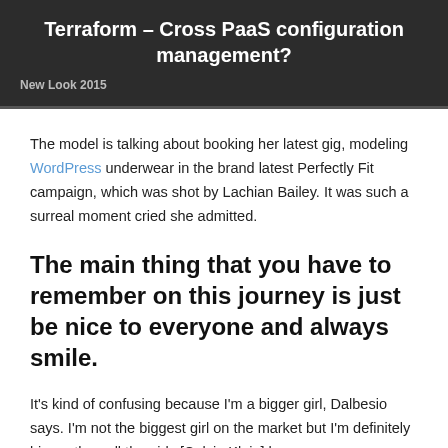Terraform – Cross PaaS configuration management?
New Look 2015
The model is talking about booking her latest gig, modeling WordPress underwear in the brand latest Perfectly Fit campaign, which was shot by Lachian Bailey. It was such a surreal moment cried she admitted.
The main thing that you have to remember on this journey is just be nice to everyone and always smile.
It's kind of confusing because I'm a bigger girl, Dalbesio says. I'm not the biggest girl on the market but I'm definitely bigger than all the girls [Calvin Klein] has ever